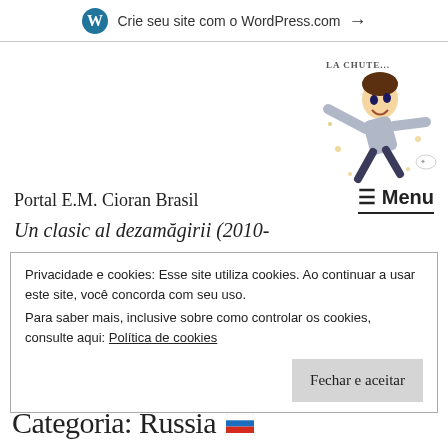Crie seu site com o WordPress.com →
[Figure (illustration): Caricature of a man falling, with text 'La Chute...' above. Cartoonish figure in suit falling with arms outstretched.]
Portal E.M. Cioran Brasil
≡ Menu
Un clasic al dezamăgirii (2010-
Privacidade e cookies: Esse site utiliza cookies. Ao continuar a usar este site, você concorda com seu uso.
Para saber mais, inclusive sobre como controlar os cookies, consulte aqui: Política de cookies
Fechar e aceitar
Categoria: Russia